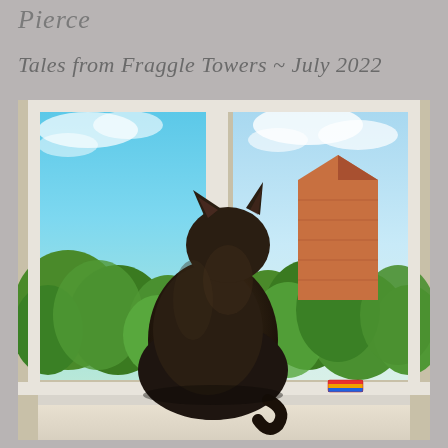Pierce
Tales from Fraggle Towers ~ July 2022
[Figure (photo): A dark-furred kitten sits on a windowsill with its back to the camera, looking out through a large window at a bright blue sky, green trees, and a brick building roof. A small colorful object (toy or eraser) sits on the white windowsill to the right of the cat.]